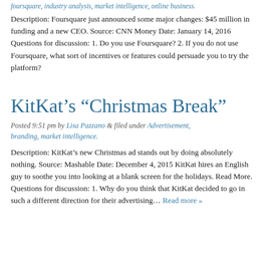foursquare, industry analysis, market intelligence, online business.
Description: Foursquare just announced some major changes: $45 million in funding and a new CEO. Source: CNN Money Date: January 14, 2016 Questions for discussion: 1. Do you use Foursquare? 2. If you do not use Foursquare, what sort of incentives or features could persuade you to try the platform?
KitKat’s “Christmas Break”
Posted 9:51 pm by Lisa Pazzano & filed under Advertisement, branding, market intelligence.
Description: KitKat’s new Christmas ad stands out by doing absolutely nothing. Source: Mashable Date: December 4, 2015 KitKat hires an English guy to soothe you into looking at a blank screen for the holidays. Read More. Questions for discussion: 1. Why do you think that KitKat decided to go in such a different direction for their advertising... Read more »